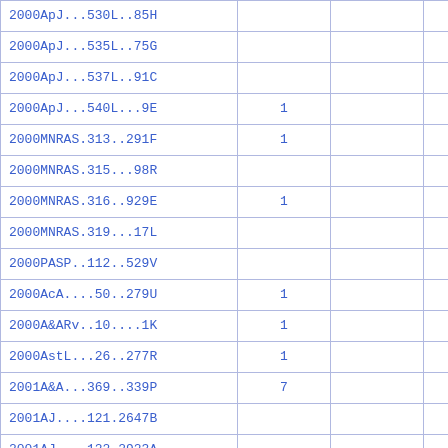| 2000ApJ...530L..85H |  |  |  |
| 2000ApJ...535L..75G |  |  |  |
| 2000ApJ...537L..91C |  |  |  |
| 2000ApJ...540L...9E | 1 |  |  |
| 2000MNRAS.313..291F | 1 |  |  |
| 2000MNRAS.315...98R |  |  |  |
| 2000MNRAS.316..929E | 1 |  |  |
| 2000MNRAS.319...17L |  |  |  |
| 2000PASP..112..529V |  |  |  |
| 2000AcA....50..279U | 1 |  |  |
| 2000A&ARv..10....1K | 1 |  |  |
| 2000AstL...26..277R | 1 |  |  |
| 2001A&A...369..339P | 7 |  |  |
| 2001AJ....121.2647B |  |  |  |
| 2001AJ....122.2923A |  |  |  |
| 2001ApJ...546..681T | 1 |  |  |
| 2001ApJ...552L.113T |  |  |  |
| 2001ApJ...556...24Z |  |  |  |
| 2001ApJ...557..671W |  |  |  |
| 2001ApJ...559L..21D | 1 |  |  |